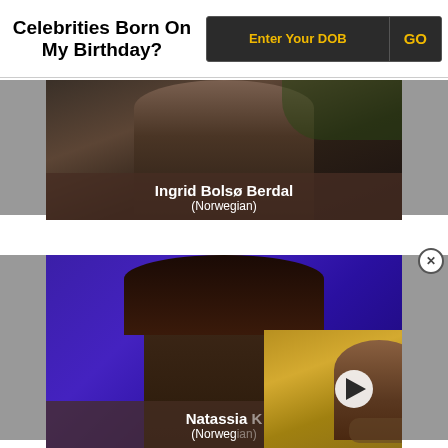Celebrities Born On My Birthday?
[Figure (photo): Photo of Ingrid Bolsø Berdal, a Norwegian actress, with name overlay]
[Figure (photo): Photo of Natassia (Norwegian), partially overlaid with a TIME video player thumbnail showing a woman on a yellow background]